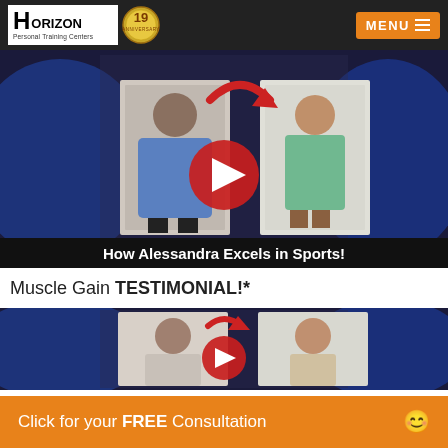[Figure (logo): Horizon Personal Training Centers logo with 19th anniversary badge]
[Figure (screenshot): Video thumbnail showing before/after transformation of Alessandra with YouTube play button overlay, titled 'How Alessandra Excels in Sports!']
Muscle Gain TESTIMONIAL!*
[Figure (screenshot): Video thumbnail showing before/after muscle gain transformation of a male with YouTube play button overlay, partially visible]
Click for your FREE Consultation